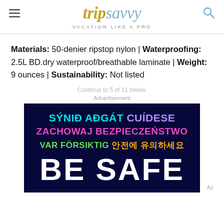tripsavvy VACATION LIKE A PRO
Materials: 50-denier ripstop nylon | Waterproofing: 2.5L BD.dry waterproof/breathable laminate | Weight: 9 ounces | Sustainability: Not listed
Continue to 5 of 11 below.
Advertisement
[Figure (photo): Dark navy advertisement banner with multilingual 'Be Safe' text in cyan, purple, pink, green colors on dark background]